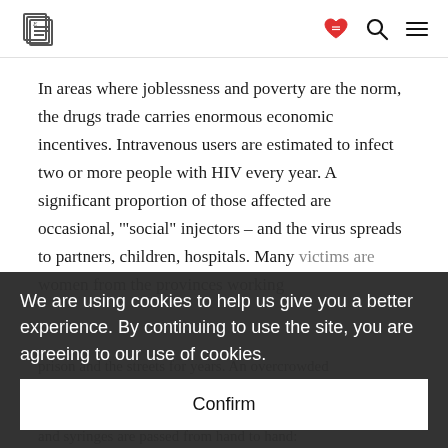[Logo] [Heart icon] [Search icon] [Menu icon]
In areas where joblessness and poverty are the norm, the drugs trade carries enormous economic incentives. Intravenous users are estimated to infect two or more people with HIV every year. A significant proportion of those affected are occasional, '"social" injectors – and the virus spreads to partners, children, hospitals. Many victims are women from the provinces working ... prison and the streets for years. An overcrowded ... and syringes are passed from hand to hand:
We are using cookies to help us give you a better experience. By continuing to use the site, you are agreeing to our use of cookies.
Confirm